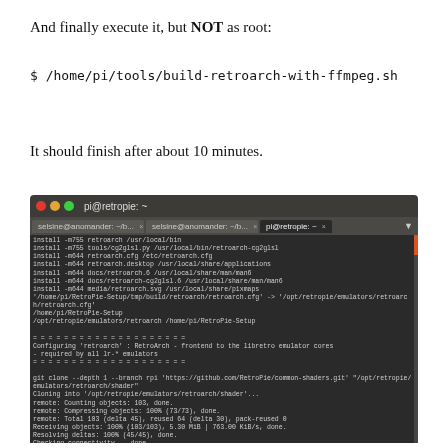And finally execute it, but NOT as root:
$ /home/pi/tools/build-retroarch-with-ffmpeg.sh
It should finish after about 10 minutes.
[Figure (screenshot): Terminal window showing Ubuntu terminal with pi@retropie: ~ title, tabs for selsine@anomander and pi@retropie sessions, and terminal output showing retroarch installation and git clone commands for RetroPie common-shaders.]